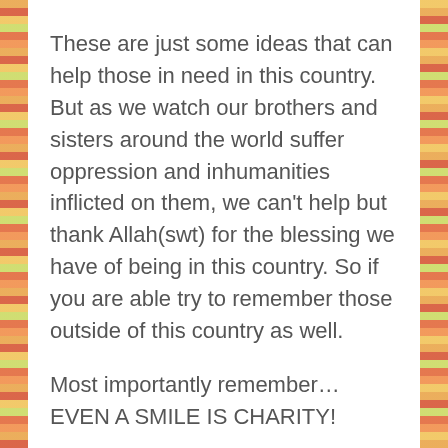These are just some ideas that can help those in need in this country.  But as we watch our brothers and sisters around the world suffer oppression and inhumanities inflicted on them, we can't help but thank Allah(swt) for the blessing we have of being in this country. So if you are able try to remember those outside of this country as well.
Most importantly remember...EVEN A SMILE IS CHARITY!